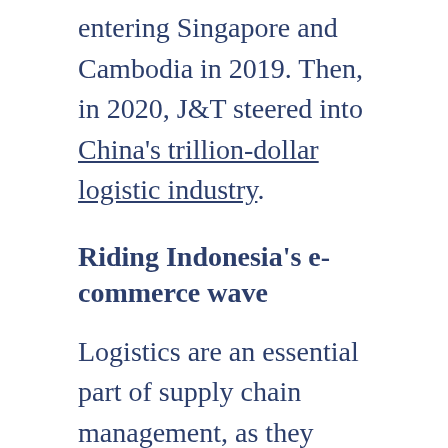entering Singapore and Cambodia in 2019. Then, in 2020, J&T steered into China's trillion-dollar logistic industry.
Riding Indonesia's e-commerce wave
Logistics are an essential part of supply chain management, as they ensure that goods sent by a warehouse or from sellers will be delivered safely to customers. Last-mile logistics has experienced sustained growth in Indonesia over the past six years on the back of the e-commerce boom. The local logistics market is expected to reach USD 94 billion by 2025, according to Ken Research.